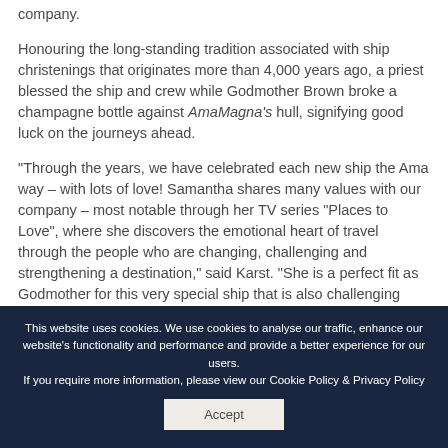company.
Honouring the long-standing tradition associated with ship christenings that originates more than 4,000 years ago, a priest blessed the ship and crew while Godmother Brown broke a champagne bottle against AmaMagna's hull, signifying good luck on the journeys ahead.
“Through the years, we have celebrated each new ship the Ama way – with lots of love! Samantha shares many values with our company – most notable through her TV series “Places to Love”, where she discovers the emotional heart of travel through the people who are changing, challenging and strengthening a destination,” said Karst. “She is a perfect fit as Godmother for this very special ship that is also challenging ideas of what river...
This website uses cookies. We use cookies to analyse our traffic, enhance our website’s functionality and performance and provide a better experience for our users.
If you require more information, please view our Cookie Policy & Privacy Policy
Accept